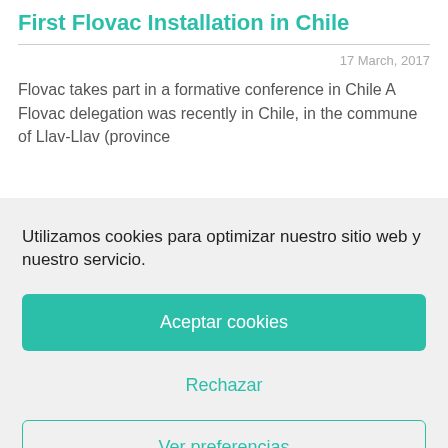First Flovac Installation in Chile
17 March, 2017
Flovac takes part in a formative conference in Chile A Flovac delegation was recently in Chile, in the commune of Llav-Llav (province
Utilizamos cookies para optimizar nuestro sitio web y nuestro servicio.
Aceptar cookies
Rechazar
Ver preferencias
Cookie Policy